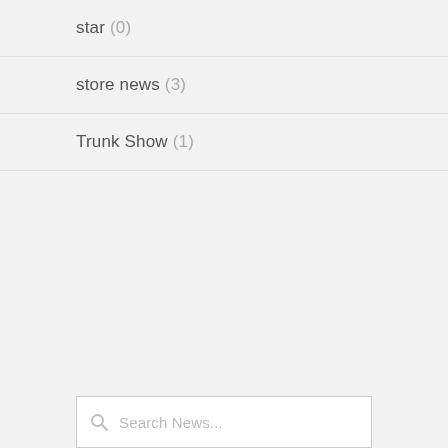star (0)
store news (3)
Trunk Show (1)